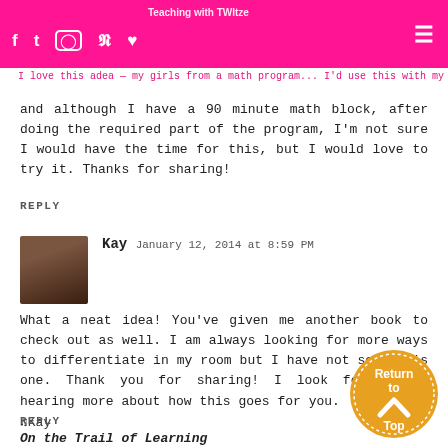Teaching with TWItze | f t instagram p [heart] [hamburger menu]
and although I have a 90 minute math block, after doing the required part of the program, I'm not sure I would have the time for this, but I would love to try it. Thanks for sharing!
REPLY
Kay January 12, 2014 at 8:59 PM
What a neat idea! You've given me another book to check out as well. I am always looking for more ways to differentiate in my room but I have not seen this one. Thank you for sharing! I look forward to hearing more about how this goes for you.
♫Kay
On the Trail of Learning
REPLY
[Figure (illustration): Orange circular 'Return to Top' button with upward chevron arrow]